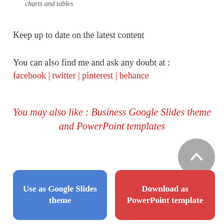charts and tables
Keep up to date on the latest content
You can also find me and ask any doubt at : facebook | twitter | pinterest | behance
You may also like : Business Google Slides theme and PowerPoint templates
[Figure (other): Gray circular button with upward chevron/arrow icon]
Use as Google Slides theme
Download as PowerPoint template